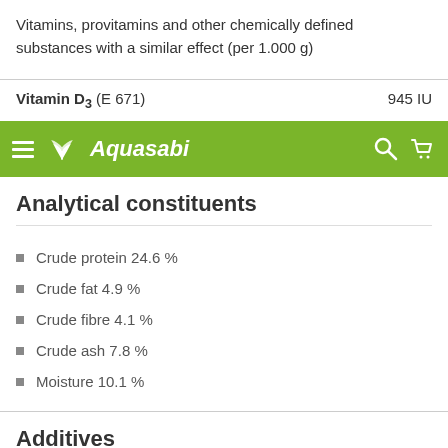Vitamins, provitamins and other chemically defined substances with a similar effect (per 1.000 g)
Vitamin D3 (E 671)    945 IU
[Figure (logo): Aquasabi navigation bar with logo, hamburger menu, search and cart icons on green background]
Analytical constituents
Crude protein 24.6 %
Crude fat 4.9 %
Crude fibre 4.1 %
Crude ash 7.8 %
Moisture 10.1 %
Additives